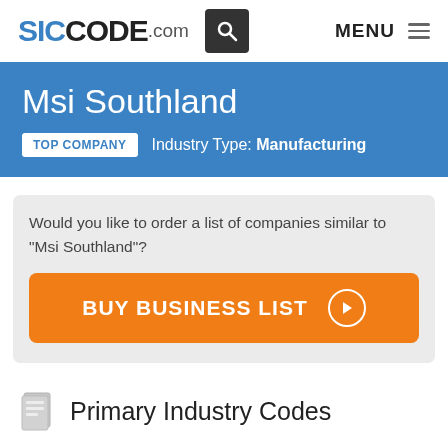SICCODE.com
Msi Southland
TOP COMPANY   Industry Type: Manufacturing
Would you like to order a list of companies similar to "Msi Southland"?
BUY BUSINESS LIST
Primary Industry Codes